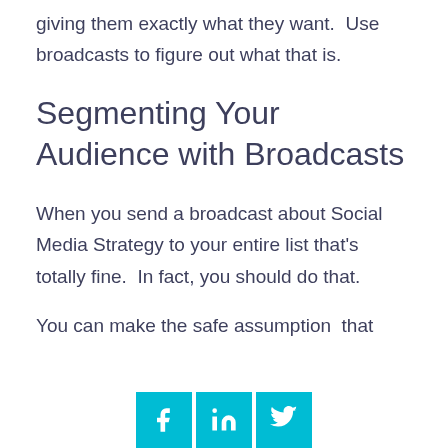giving them exactly what they want.  Use broadcasts to figure out what that is.
Segmenting Your Audience with Broadcasts
When you send a broadcast about Social Media Strategy to your entire list that's totally fine.  In fact, you should do that.
You can make the safe assumption  that
[Figure (other): Social media share buttons: Facebook (f), LinkedIn (in), Twitter (bird icon) in cyan/teal color]